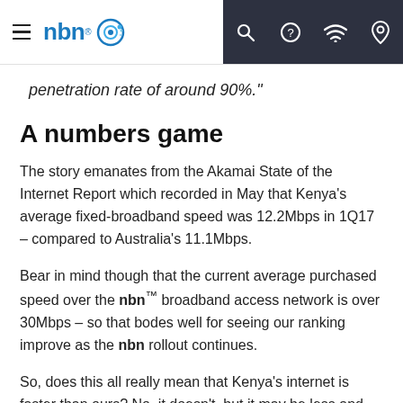nbn
penetration rate of around 90%."
A numbers game
The story emanates from the Akamai State of the Internet Report which recorded in May that Kenya's average fixed-broadband speed was 12.2Mbps in 1Q17 – compared to Australia's 11.1Mbps.
Bear in mind though that the current average purchased speed over the nbn™ broadband access network is over 30Mbps – so that bodes well for seeing our ranking improve as the nbn rollout continues.
So, does this all really mean that Kenya's internet is faster than ours? No, it doesn't, but it may be less and…